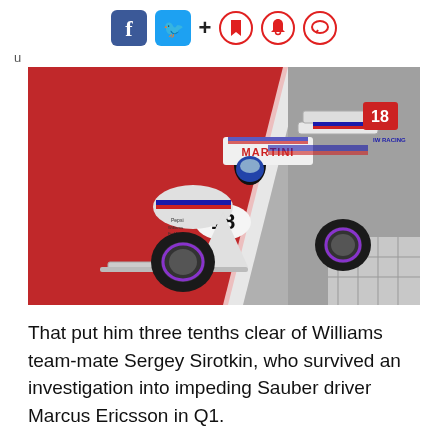[Figure (other): Social media sharing bar with Facebook, Twitter, plus, bookmark, bell, and comment icons]
u
[Figure (photo): Formula 1 car number 18 (Williams Martini Racing) on track, with red and gray tarmac background. The car is white with blue and red stripes and purple-rimmed tires.]
That put him three tenths clear of Williams team-mate Sergey Sirotkin, who survived an investigation into impeding Sauber driver Marcus Ericsson in Q1.